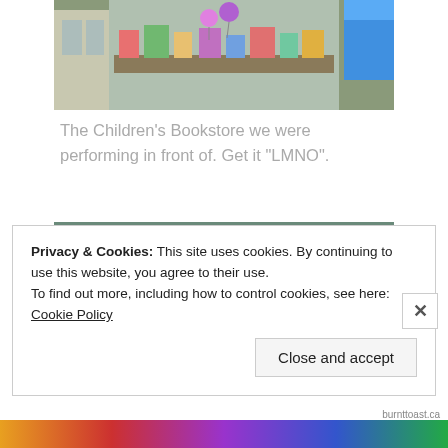[Figure (photo): Storefront of a children's bookstore with balloons and items displayed in the window]
The Children's Bookstore we were performing in front of. Get it “LMNO”.
[Figure (photo): Interior display of Jillian Jiggs books on a teal chair with stuffed animal toys]
Privacy & Cookies: This site uses cookies. By continuing to use this website, you agree to their use.
To find out more, including how to control cookies, see here: Cookie Policy